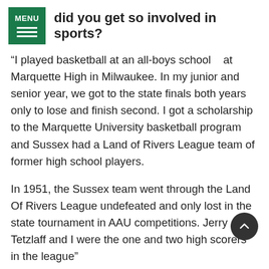did you get so involved in sports?
“I played basketball at an all-boys school   at Marquette High in Milwaukee. In my junior and senior year, we got to the state finals both years only to lose and finish second. I got a scholarship to the Marquette University basketball program and Sussex had a Land of Rivers League team of former high school players.
In 1951, the Sussex team went through the Land Of Rivers League undefeated and only lost in the state tournament in AAU competitions. Jerry Tetzlaff and I were the one and two high scorers in the league”
How is “newspapering” different today that it